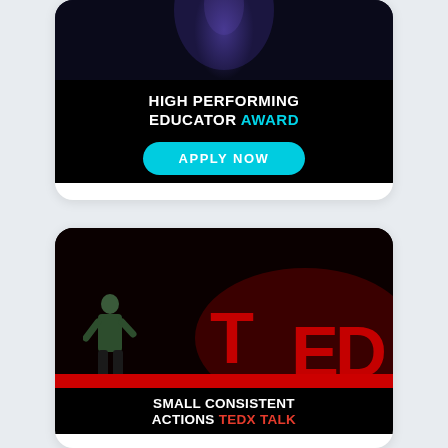[Figure (screenshot): Card with dark background showing 'HIGH PERFORMING EDUCATOR AWARD' text in white and cyan, with a cyan 'APPLY NOW' button below, on a black background. Appears to be a mobile app card.]
[Figure (screenshot): Card showing a TED talk screenshot with a male speaker on stage in front of large red TED letters. Below the image is text reading 'SMALL CONSISTENT ACTIONS TEDx TALK' in white and red on black background.]